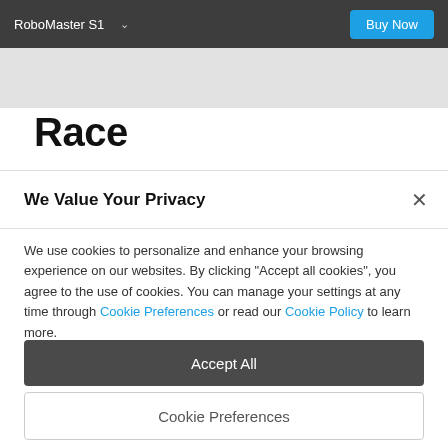RoboMaster S1   Buy Now
Race
We Value Your Privacy
We use cookies to personalize and enhance your browsing experience on our websites. By clicking "Accept all cookies", you agree to the use of cookies. You can manage your settings at any time through Cookie Preferences or read our Cookie Policy to learn more.
Accept All
Cookie Preferences